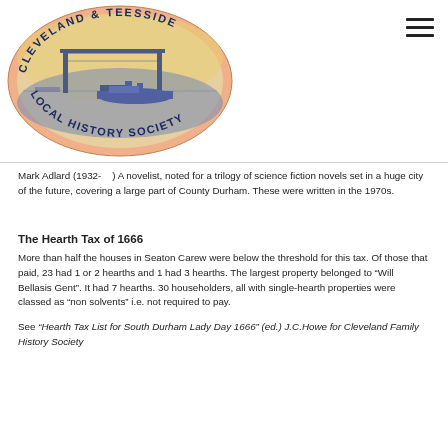[Figure (logo): Cleveland & Teesside Local History Society circular logo with illustration of a transporter bridge and ship, salmon/peach background with blue text around the border.]
Mark Adlard (1932-    ) A novelist, noted for a trilogy of science fiction novels set in a huge city of the future, covering a large part of County Durham. These were written in the 1970s.
The Hearth Tax of 1666
More than half the houses in Seaton Carew were below the threshold for this tax. Of those that paid, 23 had 1 or 2 hearths and 1 had 3 hearths. The largest property belonged to “Will Bellasis Gent”. It had 7 hearths. 30 householders, all with single-hearth properties were classed as “non solvents” i.e. not required to pay.
See “Hearth Tax List for South Durham Lady Day 1666” (ed.) J.C.Howe for Cleveland Family History Society